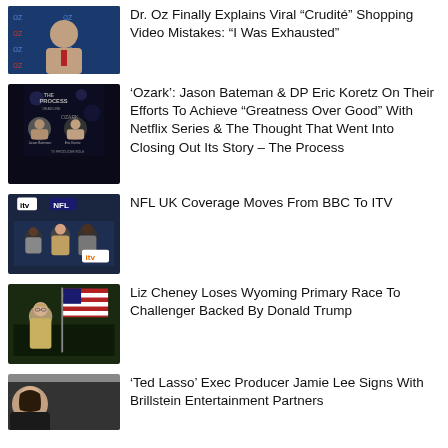Dr. Oz Finally Explains Viral “Crudité” Shopping Video Mistakes: “I Was Exhausted”
'Ozark': Jason Bateman & DP Eric Koretz On Their Efforts To Achieve “Greatness Over Good” With Netflix Series & The Thought That Went Into Closing Out Its Story – The Process
NFL UK Coverage Moves From BBC To ITV
Liz Cheney Loses Wyoming Primary Race To Challenger Backed By Donald Trump
'Ted Lasso' Exec Producer Jamie Lee Signs With Brillstein Entertainment Partners